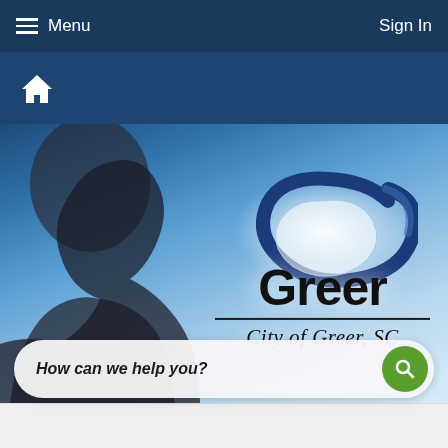Menu   Sign In
[Figure (screenshot): Navigation bar with hamburger Menu icon on left and Sign In on right, dark navy blue background]
[Figure (logo): City of Greer, SC logo with blue swoosh G graphic over silhouette background. Bold text 'Greer' with italic 'City of Greer, SC' below a horizontal divider line.]
How can we help you?